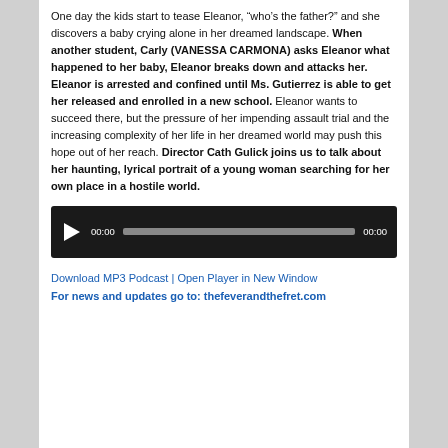One day the kids start to tease Eleanor, “who’s the father?” and she discovers a baby crying alone in her dreamed landscape. When another student, Carly (VANESSA CARMONA) asks Eleanor what happened to her baby, Eleanor breaks down and attacks her. Eleanor is arrested and confined until Ms. Gutierrez is able to get her released and enrolled in a new school. Eleanor wants to succeed there, but the pressure of her impending assault trial and the increasing complexity of her life in her dreamed world may push this hope out of her reach. Director Cath Gulick joins us to talk about her haunting, lyrical portrait of a young woman searching for her own place in a hostile world.
[Figure (other): Audio player widget with play button, time display 00:00, progress bar, and end time 00:00 on a black background]
Download MP3 Podcast | Open Player in New Window
For news and updates go to: thefeverandthefret.com